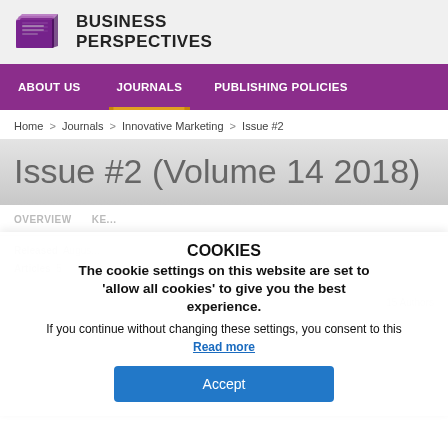[Figure (logo): Business Perspectives logo with stylized book/document icon and text 'BUSINESS PERSPECTIVES']
ABOUT US   JOURNALS   PUBLISHING POLICIES
Home > Journals > Innovative Marketing > Issue #2
Issue #2 (Volume 14 2018)
OVERVIEW   KE...
Released  August...   15 Authors   Articles  5
COOKIES
The cookie settings on this website are set to 'allow all cookies' to give you the best experience.
If you continue without changing these settings, you consent to this
Read more
Accept